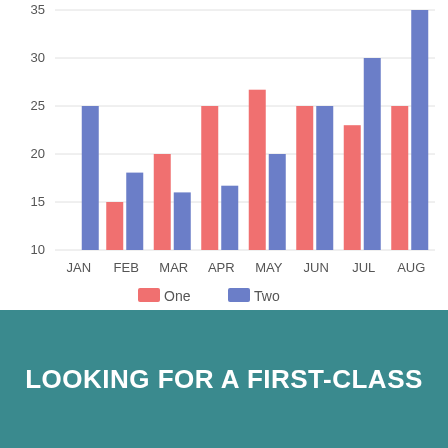[Figure (grouped-bar-chart): ]
LOOKING FOR A FIRST-CLASS